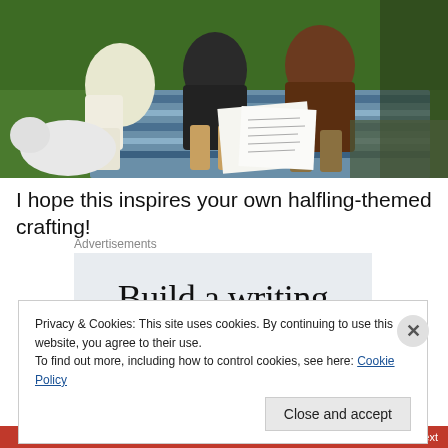[Figure (photo): Group of people sitting on a patterned blanket on grass, looking at papers, wearing casual clothing.]
I hope this inspires your own halfling-themed crafting!
Advertisements
[Figure (screenshot): Advertisement banner showing 'Build a writing' text in large serif font on light blue-gray background.]
Privacy & Cookies: This site uses cookies. By continuing to use this website, you agree to their use.
To find out more, including how to control cookies, see here: Cookie Policy
Close and accept